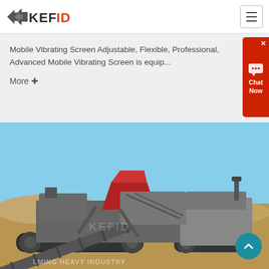[Figure (logo): KEFID company logo with grey arrow chevrons on left and dark/orange text KEFID on right]
Mobile Vibrating Screen Adjustable, Flexible, Professional, Advanced Mobile Vibrating Screen is equip...
More +
[Figure (photo): Heavy industrial mobile vibrating screen / crusher machine on tracked chassis photographed outdoors on a construction/mining site with blue sky background. Watermark text reads LMING HEAVY INDUSTRY.]
[Figure (other): Red Chat Now widget in top-right corner with speech bubble icon and X close button]